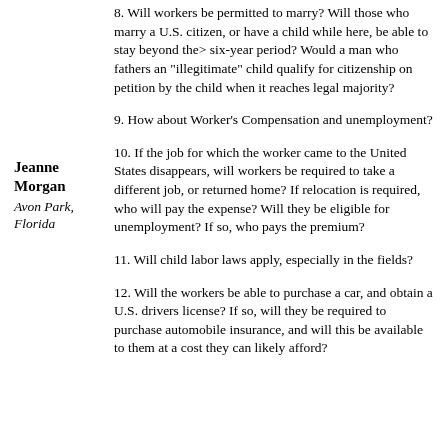8. Will workers be permitted to marry? Will those who marry a U.S. citizen, or have a child while here, be able to stay beyond the> six-year period? Would a man who fathers an "illegitimate" child qualify for citizenship on petition by the child when it reaches legal majority?
9. How about Worker's Compensation and unemployment?
Jeanne Morgan
Avon Park, Florida
10. If the job for which the worker came to the United States disappears, will workers be required to take a different job, or returned home? If relocation is required, who will pay the expense? Will they be eligible for unemployment? If so, who pays the premium?
11. Will child labor laws apply, especially in the fields?
12. Will the workers be able to purchase a car, and obtain a U.S. drivers license? If so, will they be required to purchase automobile insurance, and will this be available to them at a cost they can likely afford?